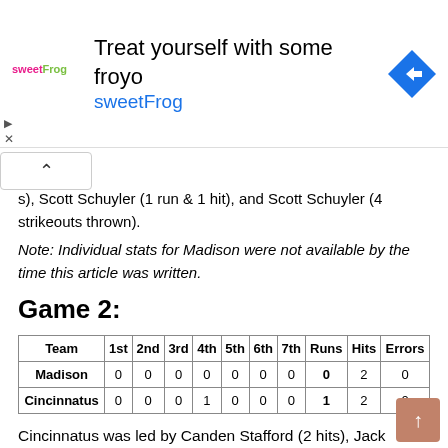[Figure (other): sweetFrog advertisement banner with logo, text 'Treat yourself with some froyo sweetFrog' and navigation arrow icon]
s), Scott Schuyler (1 run & 1 hit), and Scott Schuyler (4 strikeouts thrown).
Note: Individual stats for Madison were not available by the time this article was written.
Game 2:
| Team | 1st | 2nd | 3rd | 4th | 5th | 6th | 7th | Runs | Hits | Errors |
| --- | --- | --- | --- | --- | --- | --- | --- | --- | --- | --- |
| Madison | 0 | 0 | 0 | 0 | 0 | 0 | 0 | 0 | 2 | 0 |
| Cincinnatus | 0 | 0 | 0 | 1 | 0 | 0 | 0 | 1 | 2 | 0 |
Cincinnatus was led by Canden Stafford (2 hits), Jack Stafford (1 run), Avram Moses (1 RBI), and Cason Stafford (7 strikeouts thrown).